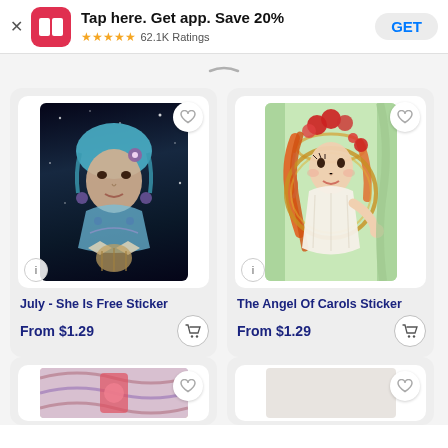Tap here. Get app. Save 20% ★★★★★ 62.1K Ratings GET
[Figure (photo): July - She Is Free sticker product image: colorful portrait of a woman with blue hair on dark background]
July - She Is Free Sticker
From $1.29
[Figure (photo): The Angel Of Carols sticker product image: illustrated angel woman with red hair and white dress on green background]
The Angel Of Carols Sticker
From $1.29
[Figure (photo): Partial sticker product image at bottom left - partially visible]
[Figure (photo): Partial sticker product image at bottom right - partially visible]